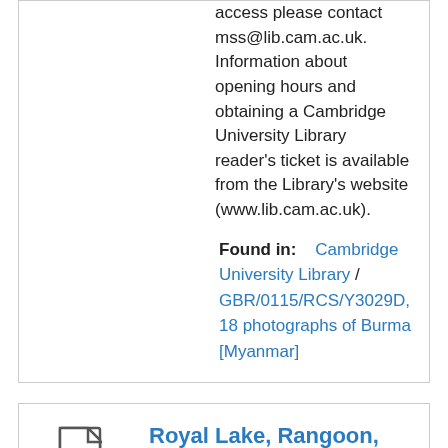access please contact mss@lib.cam.ac.uk. Information about opening hours and obtaining a Cambridge University Library reader's ticket is available from the Library's website (www.lib.cam.ac.uk).
Found in:   Cambridge University Library / GBR/0115/RCS/Y3029D, 18 photographs of Burma [Myanmar]
[Figure (other): Document/Item icon — a file page icon with folded corner]
Item
Royal Lake, Rangoon, 1890 - 1899
Reference Code:
GBR/0115/RCS/Y3029D/18